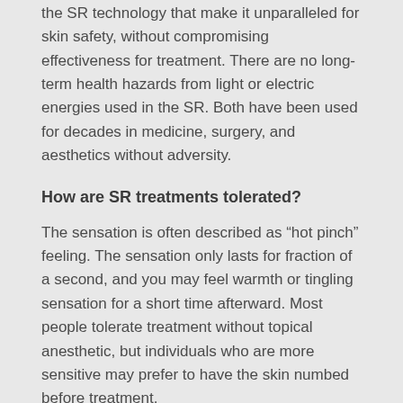the SR technology that make it unparalleled for skin safety, without compromising effectiveness for treatment. There are no long-term health hazards from light or electric energies used in the SR. Both have been used for decades in medicine, surgery, and aesthetics without adversity.
How are SR treatments tolerated?
The sensation is often described as “hot pinch” feeling. The sensation only lasts for fraction of a second, and you may feel warmth or tingling sensation for a short time afterward. Most people tolerate treatment without topical anesthetic, but individuals who are more sensitive may prefer to have the skin numbed before treatment.
Who should get SR treatment for Skin Rejuvenation?
Anyone who wants to improve the signs of sun damage and aging in the skin, such as pigmented and vascular irregularities, uneven or rough skin texture. Skin rejuvenation can be done on